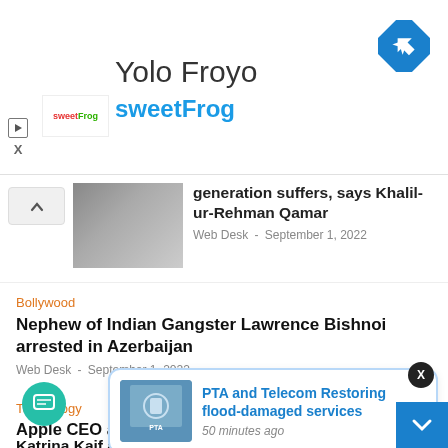[Figure (screenshot): sweetFrog advertisement banner with logo showing 'Yolo Froyo' title and 'sweetFrog' subtitle, Google Maps navigation icon top right, play and X buttons on left]
generation suffers, says Khalil-ur-Rehman Qamar
Web Desk  ·  September 1, 2022
Bollywood
Nephew of Indian Gangster Lawrence Bishnoi arrested in Azerbaijan
Web Desk  ·  September 1, 2022
Technology
Apple CEO announces Pakistan flood relief donation
[Figure (screenshot): Popup card with PTA tower image thumbnail and blue link text 'PTA and Telecom Restoring flood-damaged services' with '50 minutes ago' below]
Katrina Kaif and Vicky Kaushal appea on screen together first time pos...